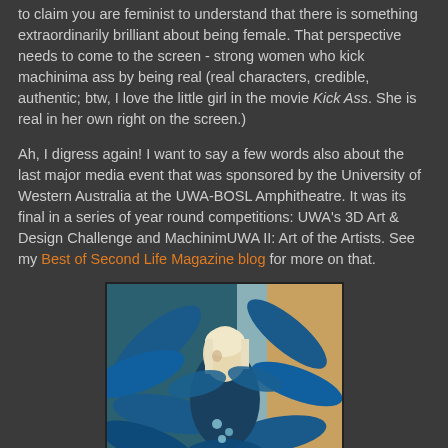to claim you are feminist to understand that there is something extraordinarily brilliant about being female. That perspective needs to come to the screen - strong women who kick machinima ass by being real (real characters, credible, authentic; btw, I love the little girl in the movie Kick Ass. She is real in her own right on the screen.)
Ah, I digress again! I want to say a few words also about the last major media event that was sponsored by the University of Western Australia at the UWA-BOSL Amphitheatre. It was its final in a series of year round competitions: UWA's 3D Art & Design Challenge and MachinimUWA II: Art of the Artists. See my Best of Second Life Magazine blog for more on that.
[Figure (photo): A Second Life avatar with an elaborate blue feathered costume, with a blonde-white hair, surrounded by large blue feathers/wings, with a warm tan/brown background visible on the right side.]